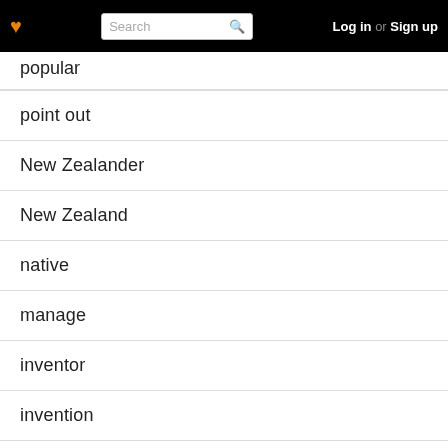Search | Log in or Sign up
popular
point out
New Zealander
New Zealand
native
manage
inventor
invention
internet